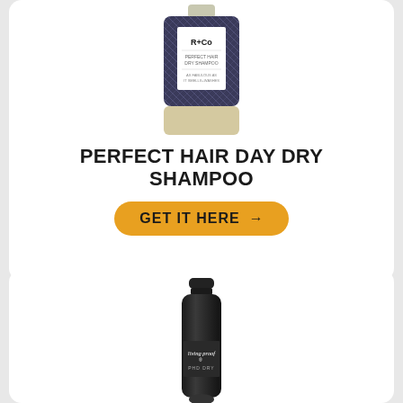[Figure (photo): R+Co Perfect Hair Day Dry Shampoo bottle with dark patterned label]
PERFECT HAIR DAY DRY SHAMPOO
GET IT HERE →
[Figure (photo): Living Proof dry shampoo black spray can]